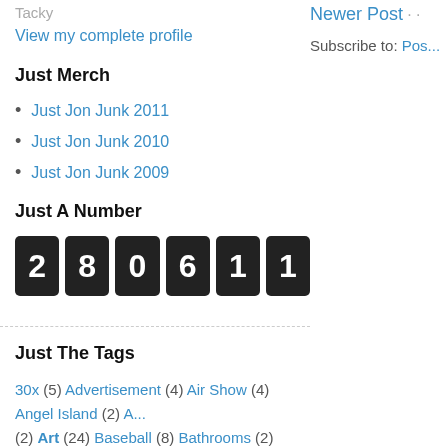Tacky
View my complete profile
Newer Post
Subscribe to: Pos...
Just Merch
Just Jon Junk 2011
Just Jon Junk 2010
Just Jon Junk 2009
Just A Number
[Figure (other): Odometer-style counter showing digits: 2 8 0 6 1 1]
Just The Tags
30x (5) Advertisement (4) Air Show (4) Angel Island (2) A... (2) Art (24) Baseball (8) Bathrooms (2) Beach (3)